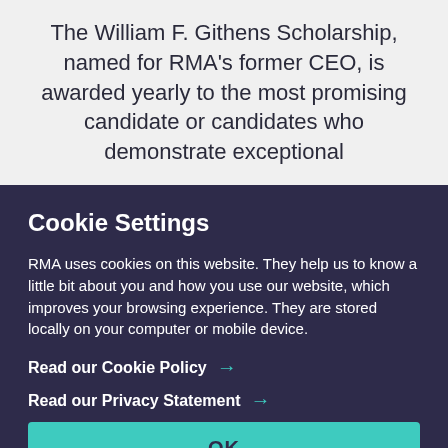The William F. Githens Scholarship, named for RMA's former CEO, is awarded yearly to the most promising candidate or candidates who demonstrate exceptional
Cookie Settings
RMA uses cookies on this website. They help us to know a little bit about you and how you use our website, which improves your browsing experience. They are stored locally on your computer or mobile device.
Read our Cookie Policy →
Read our Privacy Statement →
OK